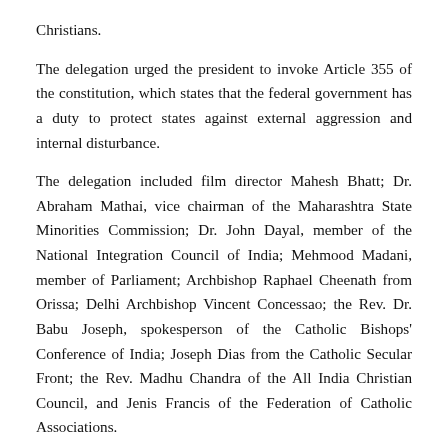Christians.
The delegation urged the president to invoke Article 355 of the constitution, which states that the federal government has a duty to protect states against external aggression and internal disturbance.
The delegation included film director Mahesh Bhatt; Dr. Abraham Mathai, vice chairman of the Maharashtra State Minorities Commission; Dr. John Dayal, member of the National Integration Council of India; Mehmood Madani, member of Parliament; Archbishop Raphael Cheenath from Orissa; Delhi Archbishop Vincent Concessao; the Rev. Dr. Babu Joseph, spokesperson of the Catholic Bishops' Conference of India; Joseph Dias from the Catholic Secular Front; the Rev. Madhu Chandra of the All India Christian Council, and Jenis Francis of the Federation of Catholic Associations.